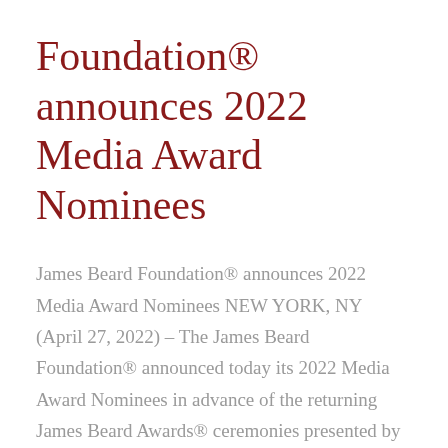Foundation® announces 2022 Media Award Nominees
James Beard Foundation® announces 2022 Media Award Nominees NEW YORK, NY (April 27, 2022) – The James Beard Foundation® announced today its 2022 Media Award Nominees in advance of the returning James Beard Awards® ceremonies presented by Capital One. The full list of nominees, which includes